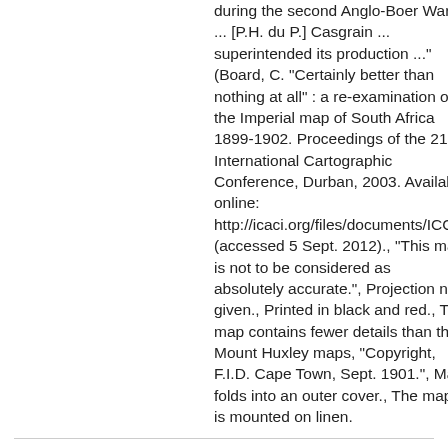during the second Anglo-Boer War. ... [P.H. du P.] Casgrain ... superintended its production ..." (Board, C. "Certainly better than nothing at all" : a re-examination of the Imperial map of South Africa 1899-1902. Proceedings of the 21st International Cartographic Conference, Durban, 2003. Available online: http://icaci.org/files/documents/ICC_pro (accessed 5 Sept. 2012)., "This map is not to be considered as absolutely accurate.", Projection not given., Printed in black and red., This map contains fewer details than the Mount Huxley maps, "Copyright, F.I.D. Cape Town, Sept. 1901.", Map folds into an outer cover., The map is mounted on linen.
Identifier	islandora:24840